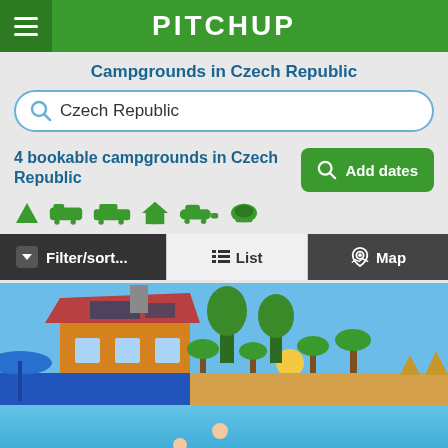PITCHUP
Campgrounds in Czech Republic
Czech Republic
4 bookable campgrounds in Czech Republic
Add dates
Filter/sort...
List
Map
[Figure (photo): Outdoor swimming pool area at a campground with a building featuring solar panels on the roof, colorful mural fence depicting beach scene with palm trees, sun, and pyramids, and a blue sky background]